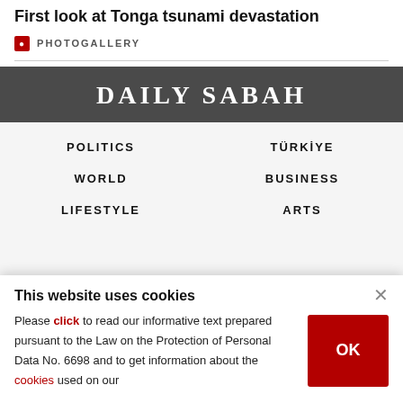First look at Tonga tsunami devastation
PHOTOGALLERY
[Figure (logo): Daily Sabah website header logo on dark grey background]
POLITICS
TÜRKİYE
WORLD
BUSINESS
LIFESTYLE
ARTS
This website uses cookies
Please click to read our informative text prepared pursuant to the Law on the Protection of Personal Data No. 6698 and to get information about the cookies used on our